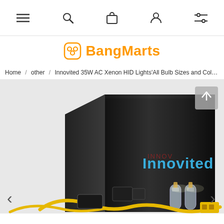Navigation bar with menu, search, cart, account, and settings icons
BangMarts
Home / other / Innovited 35W AC Xenon HID Lights'All Bulb Sizes and Colors
[Figure (photo): Product photo of Innovited 35W AC Xenon HID Lights kit in black box with two glass bulbs visible, showing the Innovited brand name in blue text on the box, with yellow wiring components visible at the bottom. Navigation arrows on left and right.]